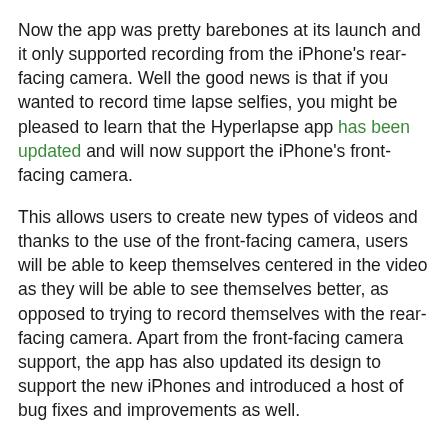Now the app was pretty barebones at its launch and it only supported recording from the iPhone's rear-facing camera. Well the good news is that if you wanted to record time lapse selfies, you might be pleased to learn that the Hyperlapse app has been updated and will now support the iPhone's front-facing camera.
This allows users to create new types of videos and thanks to the use of the front-facing camera, users will be able to keep themselves centered in the video as they will be able to see themselves better, as opposed to trying to record themselves with the rear-facing camera. Apart from the front-facing camera support, the app has also updated its design to support the new iPhones and introduced a host of bug fixes and improvements as well.